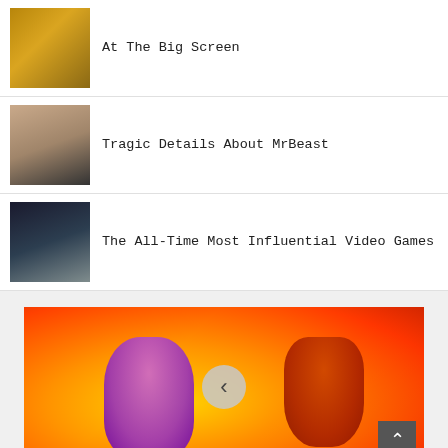At The Big Screen
Tragic Details About MrBeast
The All-Time Most Influential Video Games
[Figure (photo): Animated characters flying through fire and explosion scene with a carousel back button overlay]